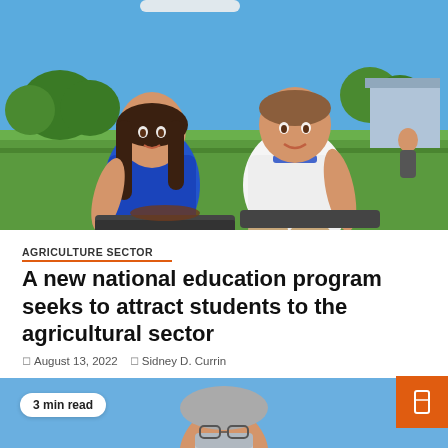[Figure (photo): Two teenagers crouching outdoors on a school field — a girl in a blue school uniform and a boy in a white shirt — working with planting boxes/soil on a sunny day with green grass and trees in the background.]
AGRICULTURE SECTOR
A new national education program seeks to attract students to the agricultural sector
August 13, 2022   Sidney D. Currin
[Figure (photo): Partial photo of a man wearing a face mask against a blue sky background, with a '3 min read' pill badge overlay and an orange bookmark/save button in the top right corner.]